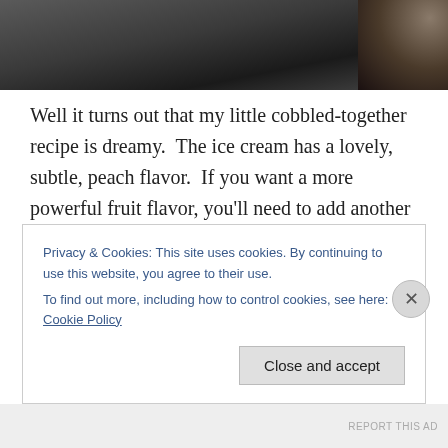[Figure (photo): Dark photograph of what appears to be food or cooking scene, dark tones with some warm brown areas at right]
Well it turns out that my little cobbled-together recipe is dreamy.  The ice cream has a lovely, subtle, peach flavor.  If you want a more powerful fruit flavor, you'll need to add another peach.  I wasn't sure the cream cheese was going to work, since it wasn't going to be perfectly smooth, but it ended up being my favorite addition.  There are wonderful little tidbits of cream cheese speckled throughout the peach and vanilla custard that give this a real cheesecake
Privacy & Cookies: This site uses cookies. By continuing to use this website, you agree to their use.
To find out more, including how to control cookies, see here: Cookie Policy
Close and accept